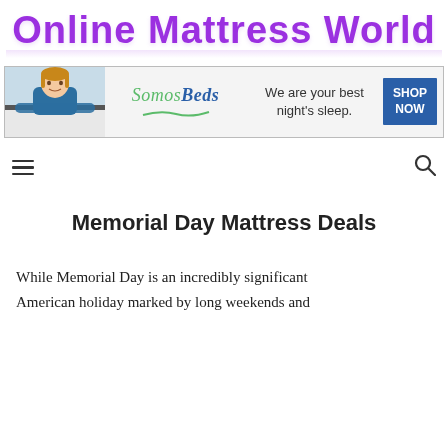Online Mattress World
[Figure (advertisement): SomosBeds advertisement banner with a woman leaning on a mattress, the SomosBeds logo, tagline 'We are your best night's sleep.' and a SHOP NOW button]
[Figure (infographic): Navigation bar with hamburger menu icon on the left and search icon on the right]
Memorial Day Mattress Deals
While Memorial Day is an incredibly significant American holiday marked by long weekends and